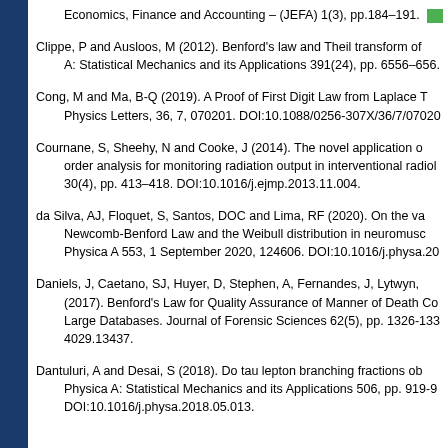Economics, Finance and Accounting – (JEFA) 1(3), pp.184–191.
Clippe, P and Ausloos, M (2012). Benford's law and Theil transform of... A: Statistical Mechanics and its Applications 391(24), pp. 6556–656...
Cong, M and Ma, B-Q (2019). A Proof of First Digit Law from Laplace T... Physics Letters, 36, 7, 070201. DOI:10.1088/0256-307X/36/7/07020...
Cournane, S, Sheehy, N and Cooke, J (2014). The novel application o... order analysis for monitoring radiation output in interventional radiol... 30(4), pp. 413–418. DOI:10.1016/j.ejmp.2013.11.004.
da Silva, AJ, Floquet, S, Santos, DOC and Lima, RF (2020). On the va... Newcomb-Benford Law and the Weibull distribution in neuromusc... Physica A 553, 1 September 2020, 124606. DOI:10.1016/j.physa.20...
Daniels, J, Caetano, SJ, Huyer, D, Stephen, A, Fernandes, J, Lytwyn,... (2017). Benford's Law for Quality Assurance of Manner of Death Co... Large Databases. Journal of Forensic Sciences 62(5), pp. 1326-133... 4029.13437.
Dantuluri, A and Desai, S (2018). Do tau lepton branching fractions ob... Physica A: Statistical Mechanics and its Applications 506, pp. 919-9... DOI:10.1016/j.physa.2018.05.013.